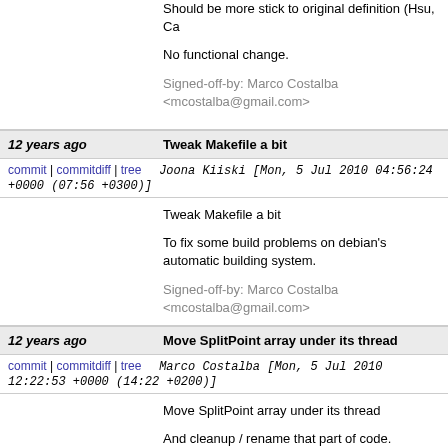Should be more stick to original definition (Hsu, Ca

No functional change.

Signed-off-by: Marco Costalba <mcostalba@gmail.com>
12 years ago | Tweak Makefile a bit
commit | commitdiff | tree
Joona Kiiski [Mon, 5 Jul 2010 04:56:24 +0000 (07:56 +0300)]
Tweak Makefile a bit

To fix some build problems on debian's automatic building system.

Signed-off-by: Marco Costalba <mcostalba@gmail.com>
12 years ago | Move SplitPoint array under its thread
commit | commitdiff | tree
Marco Costalba [Mon, 5 Jul 2010 12:22:53 +0000 (14:22 +0200)]
Move SplitPoint array under its thread

And cleanup / rename that part of code.

No functional change also with faked split.